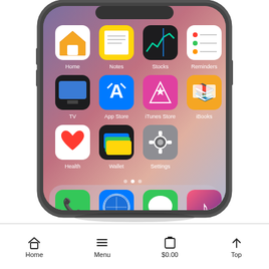[Figure (screenshot): iPhone X showing home screen with app icons including Home, Notes, Stocks, Reminders, TV, App Store, iTunes Store, iBooks, Health, Wallet, Settings, and dock with Phone, Safari, Messages, Music apps.]
Home   Menu   $0.00   Top